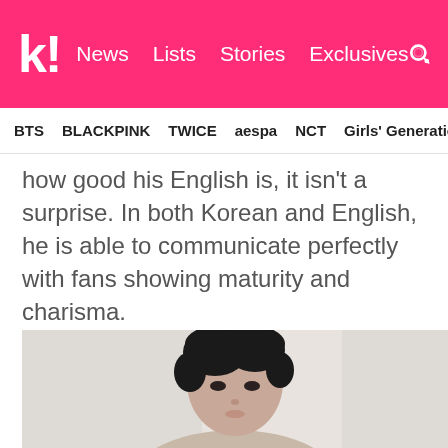k! News Lists Stories Exclusives
BTS BLACKPINK TWICE aespa NCT Girls' Generation
how good his English is, it isn't a surprise. In both Korean and English, he is able to communicate perfectly with fans showing maturity and charisma.
[Figure (photo): Portrait photo of a young East Asian man with dark hair against a light curtain background, looking at the camera with a calm expression.]